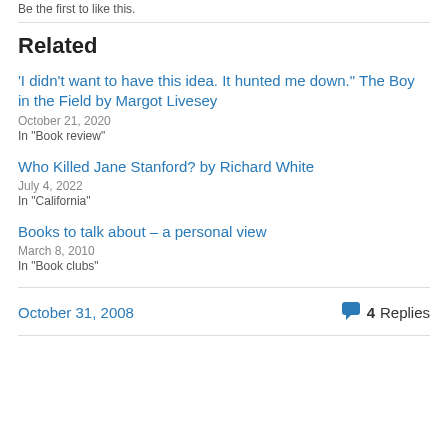Be the first to like this.
Related
'I didn't want to have this idea. It hunted me down." The Boy in the Field by Margot Livesey
October 21, 2020
In "Book review"
Who Killed Jane Stanford? by Richard White
July 4, 2022
In "California"
Books to talk about – a personal view
March 8, 2010
In "Book clubs"
October 31, 2008
4 Replies